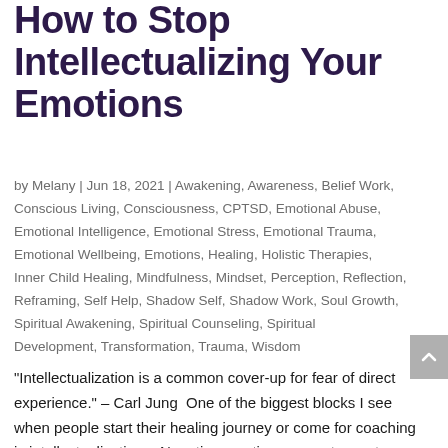How to Stop Intellectualizing Your Emotions
by Melany | Jun 18, 2021 | Awakening, Awareness, Belief Work, Conscious Living, Consciousness, CPTSD, Emotional Abuse, Emotional Intelligence, Emotional Stress, Emotional Trauma, Emotional Wellbeing, Emotions, Healing, Holistic Therapies, Inner Child Healing, Mindfulness, Mindset, Perception, Reflection, Reframing, Self Help, Shadow Self, Shadow Work, Soul Growth, Spiritual Awakening, Spiritual Counseling, Spiritual Development, Transformation, Trauma, Wisdom
“Intellectualization is a common cover-up for fear of direct experience.” – Carl Jung  One of the biggest blocks I see when people start their healing journey or come for coaching is intellectualization.   Negative emotions are not easy to process…